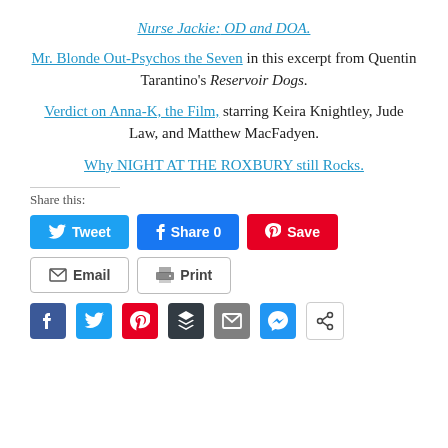Nurse Jackie: OD and DOA.
Mr. Blonde Out-Psychos the Seven in this excerpt from Quentin Tarantino's Reservoir Dogs.
Verdict on Anna-K, the Film, starring Keira Knightley, Jude Law, and Matthew MacFadyen.
Why NIGHT AT THE ROXBURY still Rocks.
Share this:
Tweet | Share 0 | Save | Email | Print
[Figure (infographic): Social sharing icon buttons row: Facebook, Twitter, Pinterest, Buffer, Email, Messenger, Share]